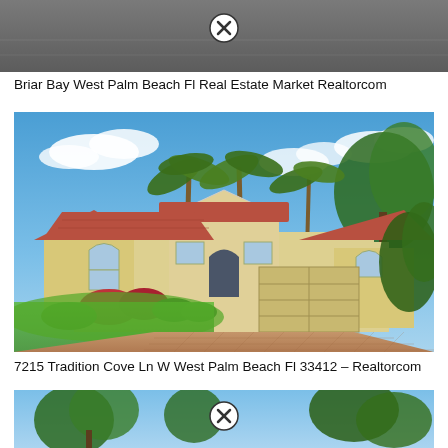[Figure (photo): Top portion of a road/aerial image, partially visible, with a close button overlay]
Briar Bay West Palm Beach Fl Real Estate Market Realtorcom
[Figure (photo): Mediterranean-style single-story home with palm trees, red tile roof, paver driveway, and tropical landscaping in West Palm Beach FL]
7215 Tradition Cove Ln W West Palm Beach Fl 33412 – Realtorcom
[Figure (photo): Bottom portion of another real estate photo showing trees and sky, with a close button overlay, partially cropped]